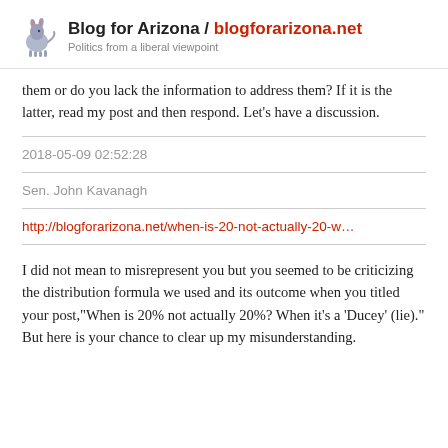Blog for Arizona / blogforarizona.net — Politics from a liberal viewpoint
them or do you lack the information to address them? If it is the latter, read my post and then respond. Let's have a discussion.
2018-05-09 02:52:28
Sen. John Kavanagh
http://blogforarizona.net/when-is-20-not-actually-20-w…
I did not mean to misrepresent you but you seemed to be criticizing the distribution formula we used and its outcome when you titled your post,"When is 20% not actually 20%? When it's a 'Ducey' (lie)." But here is your chance to clear up my misunderstanding.